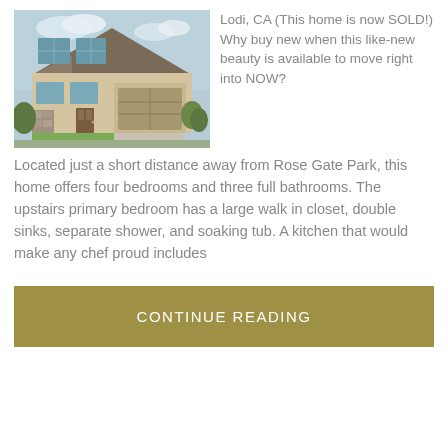[Figure (photo): Exterior photo of a two-story suburban home in Lodi, CA with beige stucco, stone accents, blue shutters, and a two-car garage.]
Lodi, CA (This home is now SOLD!) Why buy new when this like-new beauty is available to move right into NOW?
Located just a short distance away from Rose Gate Park, this home offers four bedrooms and three full bathrooms. The upstairs primary bedroom has a large walk in closet, double sinks, separate shower, and soaking tub. A kitchen that would make any chef proud includes
CONTINUE READING